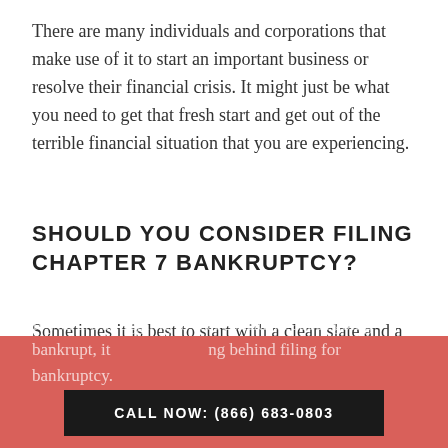There are many individuals and corporations that make use of it to start an important business or resolve their financial crisis. It might just be what you need to get that fresh start and get out of the terrible financial situation that you are experiencing.
SHOULD YOU CONSIDER FILING CHAPTER 7 BANKRUPTCY?
Sometimes it is best to start with a clean slate and a manageable repayment plan so that you can get your life back on track. You should consider filing Chapter 7 bankruptcy if your current situation could benefit from it.
If you are struggling to feel confident about going bankrupt, it... [partially obscured] ...filing behind filing for bankruptcy.
CALL NOW: (866) 683-0803